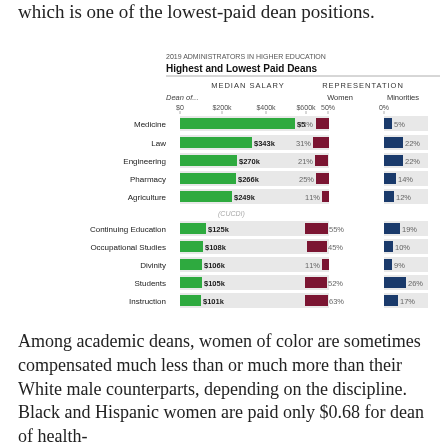which is one of the lowest-paid dean positions.
[Figure (grouped-bar-chart): 2019 Administrators in Higher Education: Highest and Lowest Paid Deans]
Among academic deans, women of color are sometimes compensated much less than or much more than their White male counterparts, depending on the discipline. Black and Hispanic women are paid only $0.68 for dean of health-